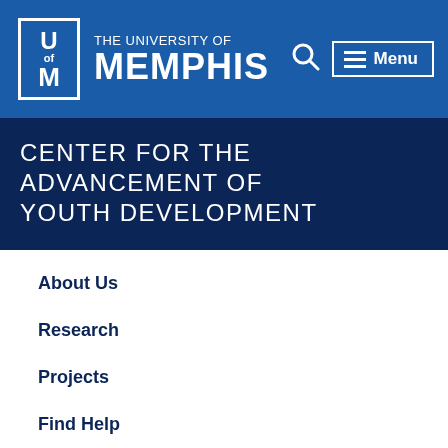[Figure (logo): University of Memphis logo with UofM text in white box, and 'THE UNIVERSITY OF MEMPHIS' text in white, plus search icon and menu button, all on bright blue background]
CENTER FOR THE ADVANCEMENT OF YOUTH DEVELOPMENT
About Us
Research
Projects
Find Help
News/Events
Men Healing Men